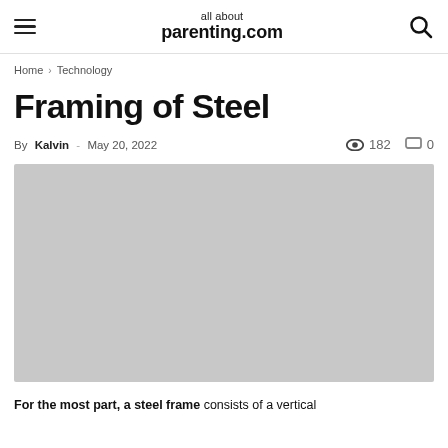all about parenting.com
Home › Technology
Framing of Steel
By Kalvin - May 20, 2022  182  0
[Figure (photo): Large image area (grey placeholder) related to Framing of Steel article]
For the most part, a steel frame consists of a vertical